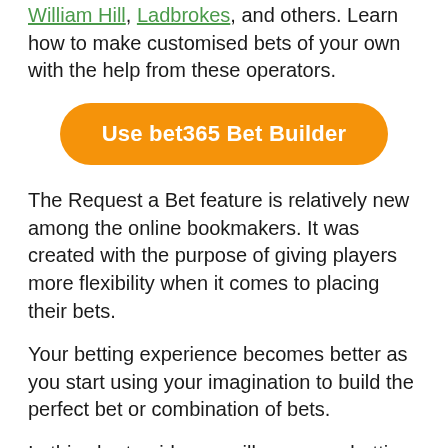William Hill, Ladbrokes, and others. Learn how to make customised bets of your own with the help from these operators.
[Figure (other): Orange rounded button with white bold text reading 'Use bet365 Bet Builder']
The Request a Bet feature is relatively new among the online bookmakers. It was created with the purpose of giving players more flexibility when it comes to placing their bets.
Your betting experience becomes better as you start using your imagination to build the perfect bet or combination of bets.
In this short guide, we will cover our betting experience with bet365's Bet Builder. We will also cover other brands on the market and see what similar offers they have.